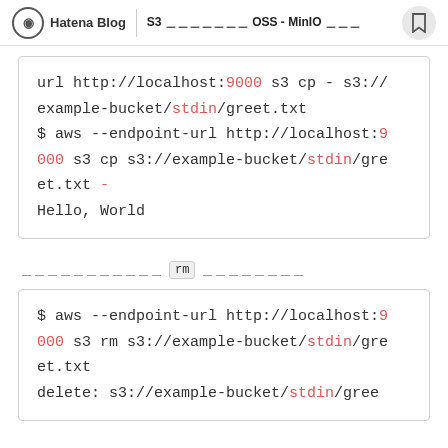Hatena Blog | S3 互換のオブジェクトストレージ OSS - MinIO 入門
url http://localhost:9000 s3 cp - s3://example-bucket/stdin/greet.txt
$ aws --endpoint-url http://localhost:9000 s3 cp s3://example-bucket/stdin/greet.txt -
Hello, World
次のコマンドでは rm コマンドを使います
$ aws --endpoint-url http://localhost:9000 s3 rm s3://example-bucket/stdin/greet.txt
delete: s3://example-bucket/stdin/gree